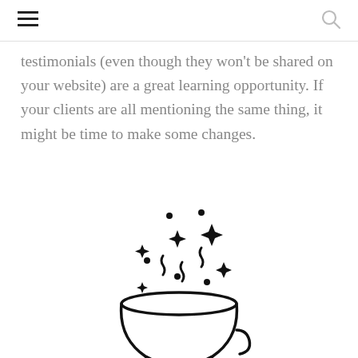testimonials (even though they won't be shared on your website) are a great learning opportunity. If your clients are all mentioning the same thing, it might be time to make some changes.
[Figure (illustration): Line drawing illustration of a bowl or cup with sparkles and magic stars floating above it, suggesting something magical or special brewing inside.]